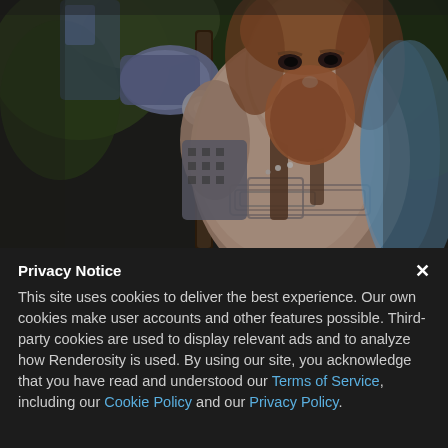[Figure (photo): A muscular Viking warrior with red-brown hair and beard, shirtless with Celtic tattoos across his chest, wearing leather shoulder straps, leaning on a large ornate axe. Forest background with green foliage.]
Privacy Notice
This site uses cookies to deliver the best experience. Our own cookies make user accounts and other features possible. Third-party cookies are used to display relevant ads and to analyze how Renderosity is used. By using our site, you acknowledge that you have read and understood our Terms of Service, including our Cookie Policy and our Privacy Policy.